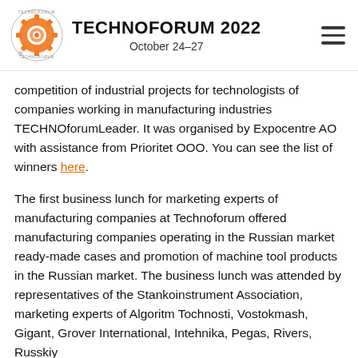TECHNOFORUM 2022 October 24–27
competition of industrial projects for technologists of companies working in manufacturing industries TECHNOforumLeader. It was organised by Expocentre AO with assistance from Prioritet OOO. You can see the list of winners here.
The first business lunch for marketing experts of manufacturing companies at Technoforum offered manufacturing companies operating in the Russian market ready-made cases and promotion of machine tool products in the Russian market. The business lunch was attended by representatives of the Stankoinstrument Association, marketing experts of Algoritm Tochnosti, Vostokmash, Gigant, Grover International, Intehnika, Pegas, Rivers, Russkiy